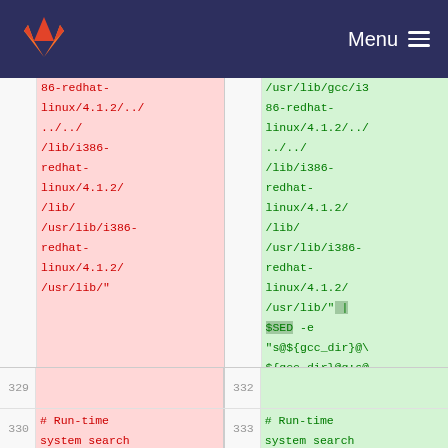GitLab | Menu
86-redhat-linux/4.1.2/../..//lib/i386-redhat-linux/4.1.2//lib//usr/lib/i386-redhat-linux/4.1.2//usr/lib/"
/usr/lib/gcc/i386-redhat-linux/4.1.2/../..//lib/i386-redhat-linux/4.1.2//lib//usr/lib/i386-redhat-linux/4.1.2//usr/lib/" | $SED -e "s@${gcc_dir}@\${gcc_dir}@g;s@${gcc_ver}@\${gcc_ver}@g"`
329
330  # Run-time system search
332
333  # Run-time system search